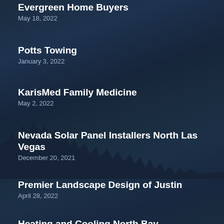Evergreen Home Buyers
May 18, 2022
Potts Towing
January 3, 2022
KarisMed Family Medicine
May 2, 2022
Nevada Solar Panel Installers North Las Vegas
December 20, 2021
Premier Landscape Design of Justin
April 28, 2022
Heating and Cooling North Bay